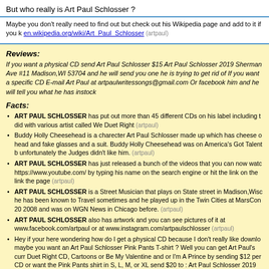But who really is Art Paul Schlosser ?
Maybe you don't really need to find out but check out his Wikipedia page and add to it if you k en.wikipedia.org/wiki/Art_Paul_Schlosser (artpaul)
Reviews:
If you want a physical CD send Art Paul Schlosser $15 Art Paul Schlosser 2019 Sherman Ave #11 Madison,WI 53704 and he will send you one he is trying to get rid of If you want a specific CD E-mail Art Paul at artpaulwritessongs@gmail.com Or facebook him and he will tell you what he has instock
Facts:
ART PAUL SCHLOSSER has put out more than 45 different CDs on his label including t did with various artist called We Duet Right (artpaul)
Buddy Holly Cheesehead is a charecter Art Paul Schlosser made up which has cheese o head and fake glasses and a suit. Buddy Holly Cheesehead was on America's Got Talent b unfortunately the Judges didn't like him. (artpaul)
ART PAUL SCHLOSSER has just released a bunch of the videos that you can now watc https://www.youtube.com/ by typing his name on the search engine or hit the link on the link the page (artpaul)
ART PAUL SCHLOSSER is a Street Musician that plays on State street in Madison,Wisc he has been known to Travel sometimes and he played up in the Twin Cities at MarsCon 20 2008 and was on WGN News in Chicago before. (artpaul)
ART PAUL SCHLOSSER also has artwork and you can see pictures of it at www.facebook.com/artpaul or at www.instagram.com/artpaulschlosser (artpaul)
Hey if your here wondering how do I get a physical CD because I don't really like downlo maybe you want an Art Paul Schlosser Pink Pants T-shirt ? Well you can get Art Paul's curr Duet Right CD, Cartoons or Be My Valentine and or I'm A Prince by sending $12 per CD or want the Pink Pants shirt in S, L, M, or XL send $20 to : Art Paul Schlosser 2019 Sherman A Madison, WI 53704 send an extra 2$ and get an autograph picture with it. (artpaul)
Web pages about this Artist: